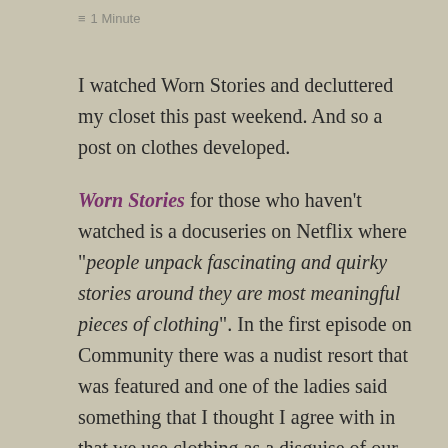≡ 1 Minute
I watched Worn Stories and decluttered my closet this past weekend. And so a post on clothes developed.
Worn Stories for those who haven't watched is a docuseries on Netflix where "people unpack fascinating and quirky stories around they are most meaningful pieces of clothing". In the first episode on Community there was a nudist resort that was featured and one of the ladies said something that I thought I agree with in that we use clothing as a disguise of our true selves (episode 4 is a great one if you are curious).